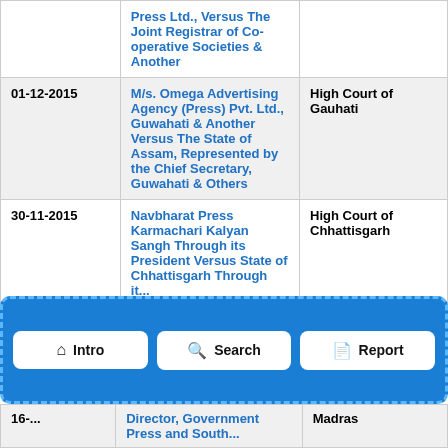| Date | Case | Court |
| --- | --- | --- |
|  | Press Ltd., Versus The Joint Registrar of Co-operative Societies & Another |  |
| 01-12-2015 | M/s. Omega Advertising Agency (Press) Pvt. Ltd., Guwahati & Another Versus The State of Assam, Represented by the Chief Secretary, Guwahati & Others | High Court of Gauhati |
| 30-11-2015 | Navbharat Press Karmachari Kalyan Sangh Through its President Versus State of Chhattisgarh Through it... | High Court of Chhattisgarh |
| 16-... | Director, Government... | Madras |
[Figure (screenshot): Navigation bar overlay with three buttons: Intro (home icon), Search (magnifier icon), Report (document icon), shown on a blue dashed-border background]